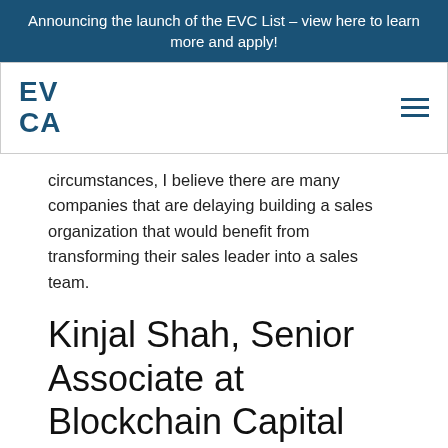Announcing the launch of the EVC List – view here to learn more and apply!
EV CA
circumstances, I believe there are many companies that are delaying building a sales organization that would benefit from transforming their sales leader into a sales team.
Kinjal Shah, Senior Associate at Blockchain Capital
[Figure (photo): Partial photo of a person, teal/blue toned]